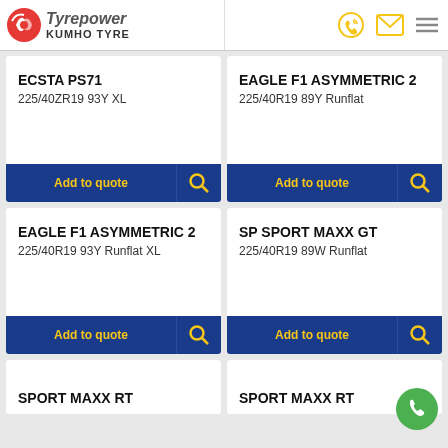Tyrepower | KUMHO TYRE
ECSTA PS71
225/40ZR19 93Y XL
EAGLE F1 ASYMMETRIC 2
225/40R19 89Y Runflat
EAGLE F1 ASYMMETRIC 2
225/40R19 93Y Runflat XL
SP SPORT MAXX GT
225/40R19 89W Runflat
SPORT MAXX RT
SPORT MAXX RT